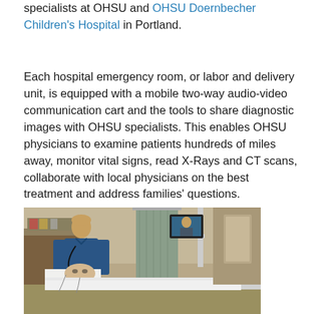specialists at OHSU and OHSU Doernbecher Children's Hospital in Portland.
Each hospital emergency room, or labor and delivery unit, is equipped with a mobile two-way audio-video communication cart and the tools to share diagnostic images with OHSU specialists. This enables OHSU physicians to examine patients hundreds of miles away, monitor vital signs, read X-Rays and CT scans, collaborate with local physicians on the best treatment and address families' questions.
[Figure (photo): A doctor in blue scrubs stands beside a hospital bed where a patient is lying. A mobile telemedicine cart with a video screen on a tall pole is visible, showing a remote physician on the screen.]